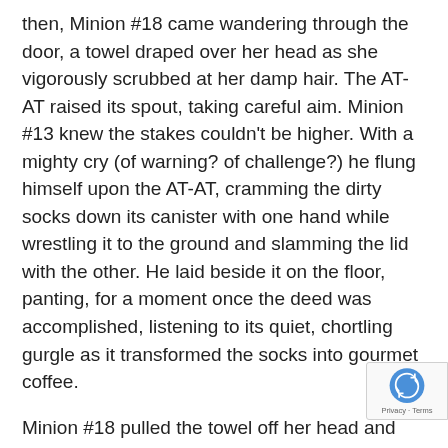then, Minion #18 came wandering through the door, a towel draped over her head as she vigorously scrubbed at her damp hair. The AT-AT raised its spout, taking careful aim. Minion #13 knew the stakes couldn't be higher. With a mighty cry (of warning? of challenge?) he flung himself upon the AT-AT, cramming the dirty socks down its canister with one hand while wrestling it to the ground and slamming the lid with the other. He laid beside it on the floor, panting, for a moment once the deed was accomplished, listening to its quiet, chortling gurgle as it transformed the socks into gourmet coffee.
Minion #18 pulled the towel off her head and began drying the ends of her hair. “Coffee not ready yet?” she asked with mild disappointment. Minion #13 shook his head mu... watched without a word as she shrugged and walked...